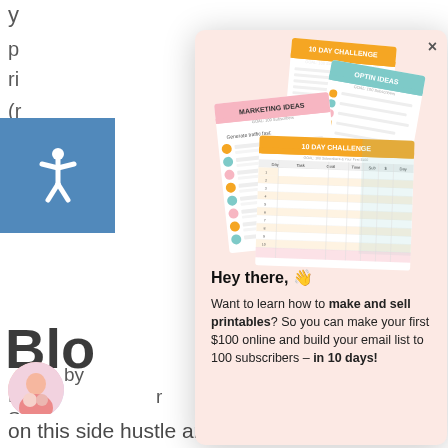gr p ri (r Ju
[Figure (illustration): Stack of four marketing printable worksheets: two orange '10 Day Challenge' sheets, one teal 'Optin Ideas' sheet, and one pink 'Marketing Ideas' sheet, fanned out and overlapping]
Hey there, 👋
Want to learn how to make and sell printables? So you can make your first $100 online and build your email list to 100 subscribers – in 10 days!
Blo
Hi the
Starta
by r
on this side hustle and help other moms